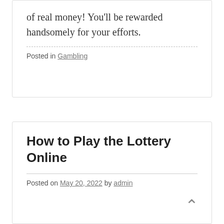of real money! You'll be rewarded handsomely for your efforts.
Posted in Gambling
How to Play the Lottery Online
Posted on May 20, 2022 by admin